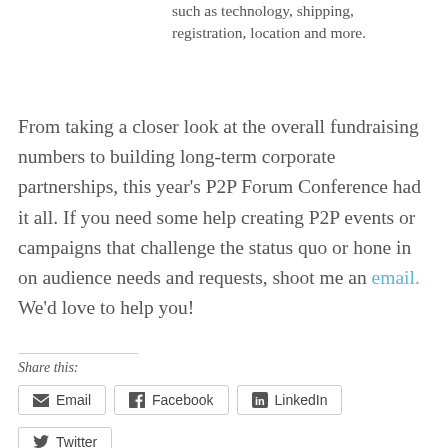such as technology, shipping, registration, location and more.
From taking a closer look at the overall fundraising numbers to building long-term corporate partnerships, this year's P2P Forum Conference had it all. If you need some help creating P2P events or campaigns that challenge the status quo or hone in on audience needs and requests, shoot me an email. We'd love to help you!
Share this:
Email
Facebook
LinkedIn
Twitter